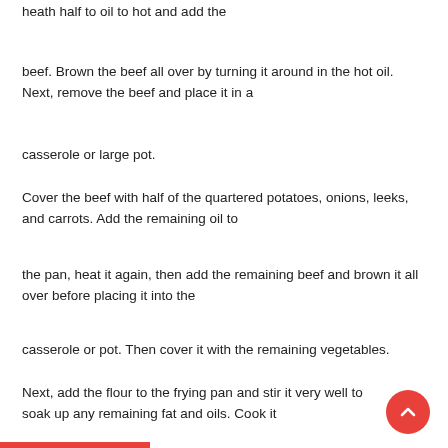heath half to oil to hot and add the
beef. Brown the beef all over by turning it around in the hot oil. Next, remove the beef and place it in a
casserole or large pot.
Cover the beef with half of the quartered potatoes, onions, leeks, and carrots. Add the remaining oil to
the pan, heat it again, then add the remaining beef and brown it all over before placing it into the
casserole or pot. Then cover it with the remaining vegetables.
Next, add the flour to the frying pan and stir it very well to soak up any remaining fat and oils. Cook it
on a gentle heat for three minutes. Then, add the beef stock a cup at a time until you have a thick, lump-